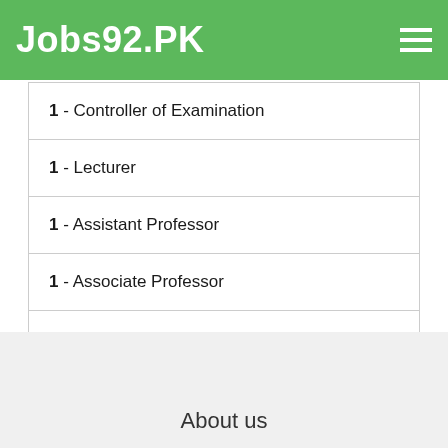Jobs92.PK
1 - Controller of Examination
1 - Lecturer
1 - Assistant Professor
1 - Associate Professor
1 - Professor
Next
About us